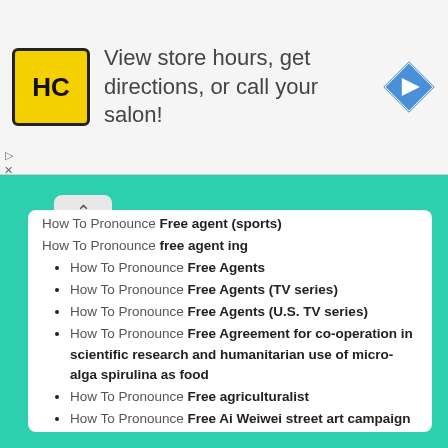[Figure (other): Advertisement banner for a hair care salon service (HC logo) with text: View store hours, get directions, or call your salon! with navigation arrow icon.]
How To Pronounce Free agent (sports)
How To Pronounce free agent ing
How To Pronounce Free Agents
How To Pronounce Free Agents (TV series)
How To Pronounce Free Agents (U.S. TV series)
How To Pronounce Free Agreement for co-operation in scientific research and humanitarian use of micro-alga spirulina as food
How To Pronounce Free agriculturalist
How To Pronounce Free Ai Weiwei street art campaign
How To Pronounce Free Air